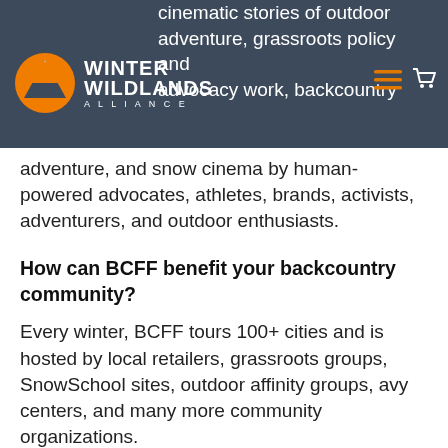Winter Wildlands Alliance — navigation header with logo
cinematic stories of outdoor adventure, grassroots policy and advocacy work, backcountry adventure, and snow cinema by human-powered advocates, athletes, brands, activists, adventurers, and outdoor enthusiasts.
How can BCFF benefit your backcountry community?
Every winter, BCFF tours 100+ cities and is hosted by local retailers, grassroots groups, SnowSchool sites, outdoor affinity groups, avy centers, and many more community organizations.
Funds raised stay in the local